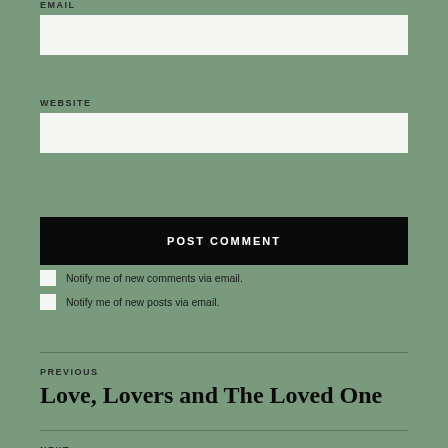EMAIL
WEBSITE
POST COMMENT
Notify me of new comments via email.
Notify me of new posts via email.
PREVIOUS
Love, Lovers and The Loved One
NEXT
O Love, teach me